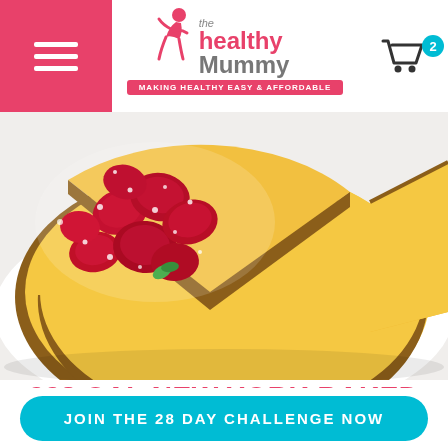The Healthy Mummy — Making Healthy EASY & AFFORDABLE
[Figure (photo): Baked New York cheesecake sliced open with powdered sugar-dusted strawberries on top, on a white plate]
228 CAL NEW YORK BAKED
JOIN THE 28 DAY CHALLENGE NOW